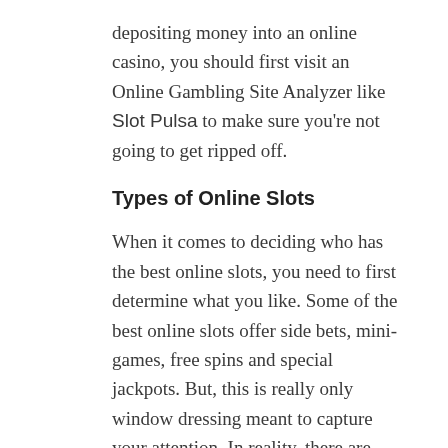depositing money into an online casino, you should first visit an Online Gambling Site Analyzer like Slot Pulsa to make sure you’re not going to get ripped off.
Types of Online Slots
When it comes to deciding who has the best online slots, you need to first determine what you like. Some of the best online slots offer side bets, mini-games, free spins and special jackpots. But, this is really only window dressing meant to capture your attention. In reality, there are only three different types of online slots available.
3-Wheel Online Slots
The...